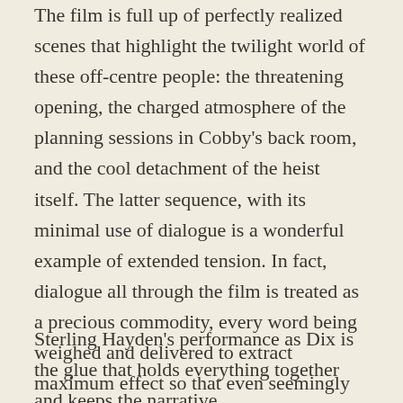The film is full up of perfectly realized scenes that highlight the twilight world of these off-centre people: the threatening opening, the charged atmosphere of the planning sessions in Cobby's back room, and the cool detachment of the heist itself. The latter sequence, with its minimal use of dialogue is a wonderful example of extended tension. In fact, dialogue all through the film is treated as a precious commodity, every word being weighed and delivered to extract maximum effect so that even seemingly throwaway lines are actually loaded with significance. In a similar vein, the use of Miklos Rozsa's score is rationed too, lending it greater impact when it's finally allowed to burst forth during Dix's frantic and fateful drive home.
Sterling Hayden's performance as Dix is the glue that holds everything together and keeps the narrative